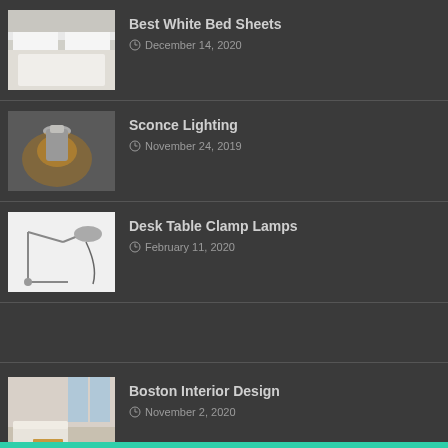Best White Bed Sheets — December 14, 2020
Sconce Lighting — November 24, 2019
Desk Table Clamp Lamps — February 11, 2020
Boston Interior Design — November 2, 2020
Lounge Design — January 5, 2020